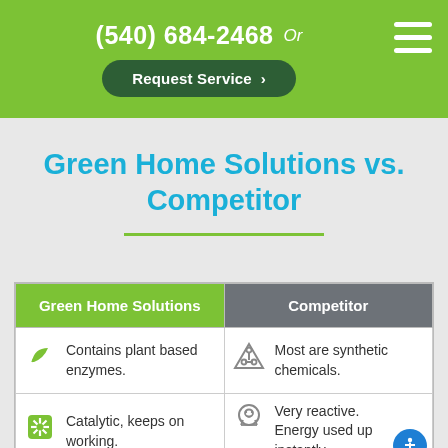(540) 684-2468 Or Request Service >
Green Home Solutions vs. Competitor
| Green Home Solutions | Competitor |
| --- | --- |
| Contains plant based enzymes. | Most are synthetic chemicals. |
| Catalytic, keeps on working. | Very reactive. Energy used up instantly. |